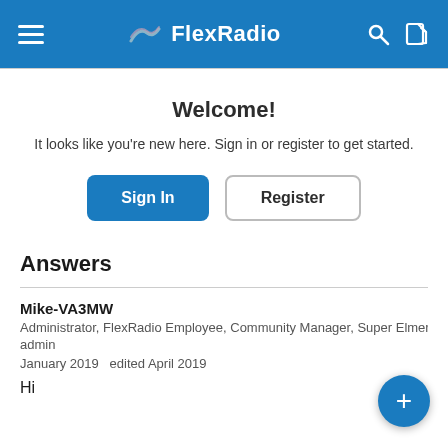FlexRadio
Welcome!
It looks like you're new here. Sign in or register to get started.
Sign In | Register
Answers
Mike-VA3MW
Administrator, FlexRadio Employee, Community Manager, Super Elmer, Mo admin
January 2019   edited April 2019
Hi